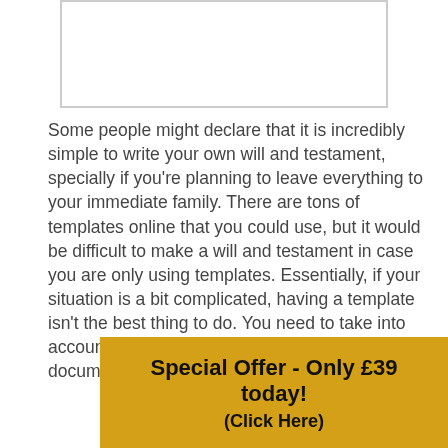[Figure (other): Empty white rectangular box with a light grey border, likely an image placeholder.]
Some people might declare that it is incredibly simple to write your own will and testament, specially if you’re planning to leave everything to your immediate family. There are tons of templates online that you could use, but it would be difficult to make a will and testament in case you are only using templates. Essentially, if your situation is a bit complicated, having a template isn’t the best thing to do. You need to take into account that a will and testament is a legal document and there’s annou the co
Special Offer - Only £39 today! (Click Here)